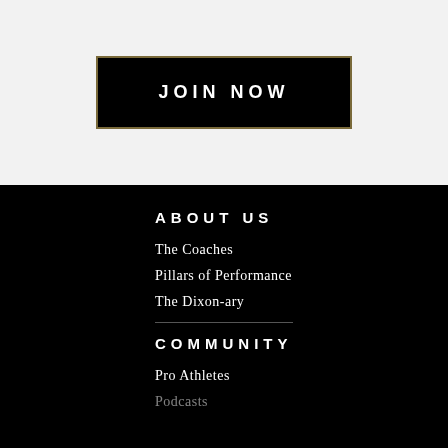[Figure (other): JOIN NOW button with black background and gold/olive border on light gray background]
ABOUT US
The Coaches
Pillars of Performance
The Dixon-ary
COMMUNITY
Pro Athletes
Podcasts